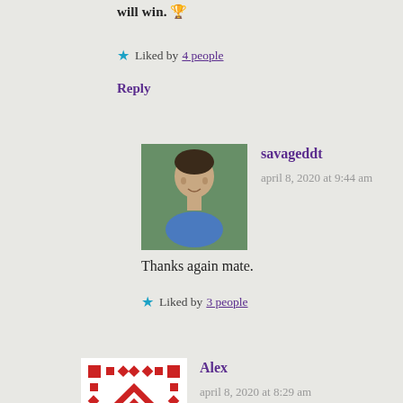will win. 🏆
⭐ Liked by 4 people
Reply
savageddt
april 8, 2020 at 9:44 am
Thanks again mate.
⭐ Liked by 3 people
Alex
april 8, 2020 at 8:29 am